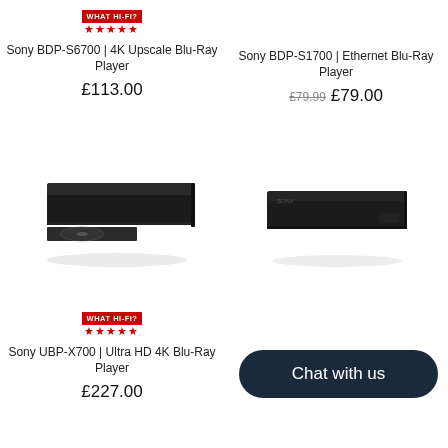[Figure (photo): What Hi-Fi? 5-star badge for Sony BDP-S6700]
Sony BDP-S6700 | 4K Upscale Blu-Ray Player
£113.00
Sony BDP-S1700 | Ethernet Blu-Ray Player
£79.99  £79.00
[Figure (photo): Sony BDP-S6700 Blu-ray player with disc tray open]
[Figure (photo): Sony BDP-S1700 Blu-ray player closed]
[Figure (photo): What Hi-Fi? 5-star badge for Sony UBP-X700]
Sony UBP-X700 | Ultra HD 4K Blu-Ray Player
£227.00
Sony U... blu-
£176.00
Chat with us